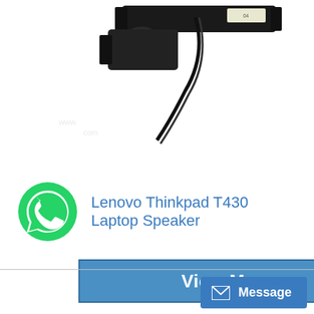[Figure (photo): Lenovo Thinkpad T430 laptop speaker hardware component — black rectangular speaker unit with cable, photographed on white background]
[Figure (logo): WhatsApp green phone icon logo]
Lenovo Thinkpad T430 Laptop Speaker
View More
Message